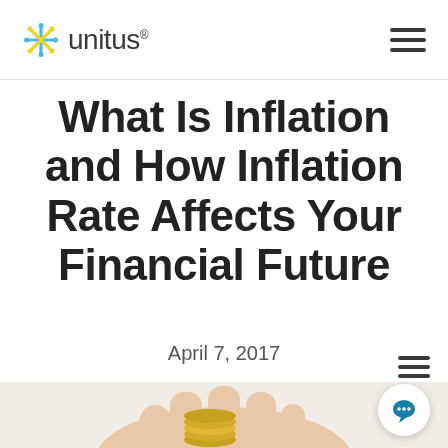unitus
What Is Inflation and How Inflation Rate Affects Your Financial Future
April 7, 2017
[Figure (photo): A hand holding a stack of gold coins, photographed against a white background, partially visible at the bottom of the page.]